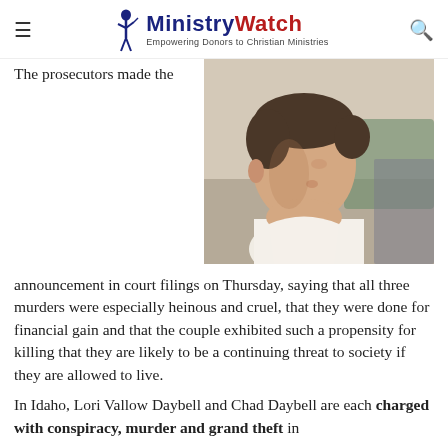MinistryWatch — Empowering Donors to Christian Ministries
[Figure (photo): A man in a white shirt seated, photographed in profile from the side, with dark hair, in what appears to be a courtroom setting.]
The prosecutors made the announcement in court filings on Thursday, saying that all three murders were especially heinous and cruel, that they were done for financial gain and that the couple exhibited such a propensity for killing that they are likely to be a continuing threat to society if they are allowed to live.
In Idaho, Lori Vallow Daybell and Chad Daybell are each charged with conspiracy, murder and grand theft in